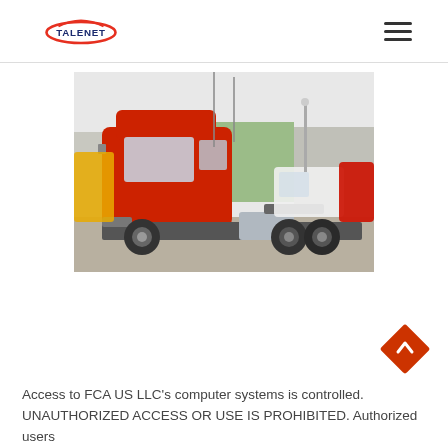TALENET
[Figure (photo): A red heavy-duty semi-truck tractor (6-wheel drive) parked in a lot with other trucks and equipment visible in the background, taken outdoors.]
Access to FCA US LLC's computer systems is controlled. UNAUTHORIZED ACCESS OR USE IS PROHIBITED. Authorized users